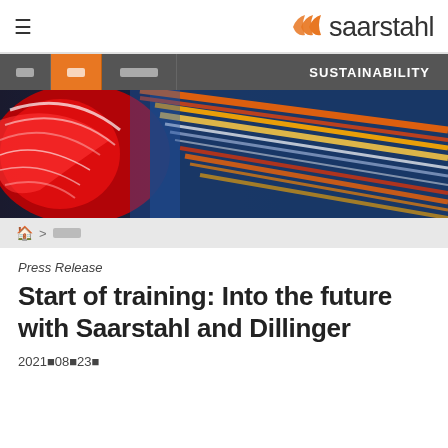≡   saarstahl
[Figure (screenshot): Saarstahl website navigation bar with hamburger menu icon on the left and Saarstahl logo (orange chevrons and text) on the right]
[Figure (photo): Abstract motion-blur hero image showing curved red, white, blue streaks on the left transitioning to diagonal orange, red, white streaks on a dark blue background on the right]
🏠 > 新闻
Press Release
Start of training: Into the future with Saarstahl and Dillinger
2021年08月23日